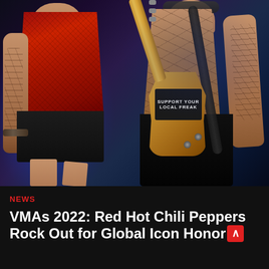[Figure (photo): Two musicians performing on stage. Left person wearing a red mesh shirt with tattoos on arms and dark shorts. Right person shirtless with tattoos holding a guitar with a sticker reading 'SUPPORT YOUR LOCAL FREAK'. Blue stage lighting in background.]
NEWS
VMAs 2022: Red Hot Chili Peppers Rock Out for Global Icon Honor